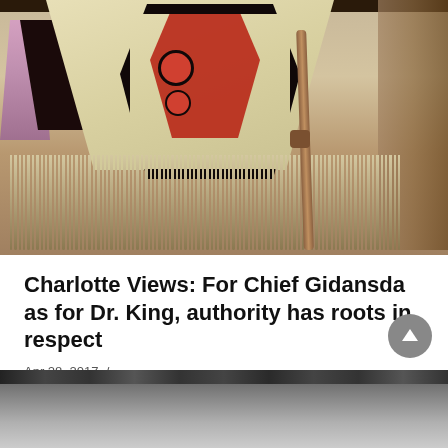[Figure (photo): Person wearing traditional Indigenous regalia including a colorful blanket/robe with Northwest Coast Native art designs in red, black, and cream colors with long fringe, holding a wooden walking stick. A young child in pink is visible on the left side.]
Charlotte Views: For Chief Gidansda as for Dr. King, authority has roots in respect
Apr 28, 2017  /
[Figure (photo): Partially visible photograph showing water and rocks, appears to be a coastal or waterway scene in black and white or muted tones.]